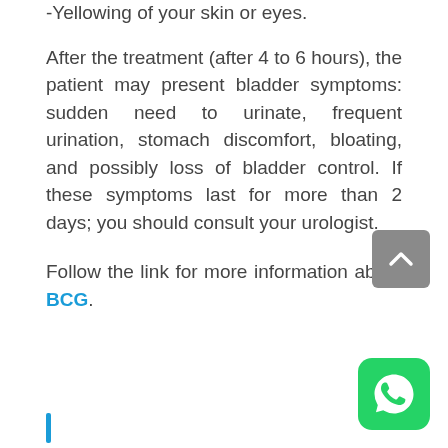-Yellowing of your skin or eyes.
After the treatment (after 4 to 6 hours), the patient may present bladder symptoms: sudden need to urinate, frequent urination, stomach discomfort, bloating, and possibly loss of bladder control. If these symptoms last for more than 2 days; you should consult your urologist.
Follow the link for more information about BCG.
[Figure (other): Grey scroll-to-top button with upward chevron arrow]
[Figure (other): WhatsApp icon button — green rounded square with white telephone receiver icon]